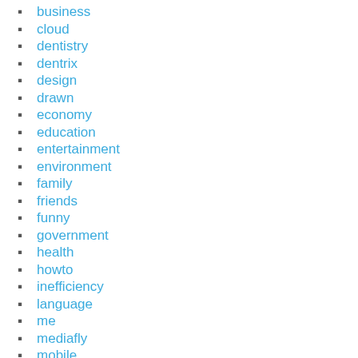business
cloud
dentistry
dentrix
design
drawn
economy
education
entertainment
environment
family
friends
funny
government
health
howto
inefficiency
language
me
mediafly
mobile
photo